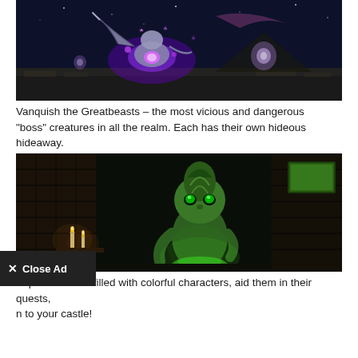[Figure (screenshot): Video game screenshot showing a boss creature (Greatbeast) with purple glowing magic on a dark night-sky background with stone ruins]
Vanquish the Greatbeasts – the most vicious and dangerous “boss” creatures in all the realm. Each has their own hideous hideaway.
[Figure (screenshot): Video game screenshot showing a green cartoon character (goblin-like) in a dark dungeon scene with candles, leaning over a green glowing object]
Explore a world filled with colorful characters, aid them in their quests, n to your castle!
✕ Close Ad